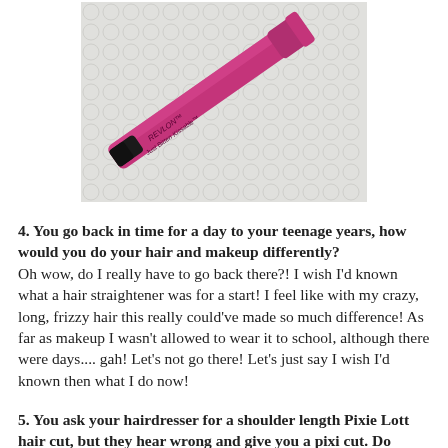[Figure (photo): A pink/magenta Revlon Just Bitten Kissable lip color pencil lying diagonally on a white textured surface. The product has a black tip exposed.]
4. You go back in time for a day to your teenage years, how would you do your hair and makeup differently? Oh wow, do I really have to go back there?! I wish I'd known what a hair straightener was for a start! I feel like with my crazy, long, frizzy hair this really could've made so much difference! As far as makeup I wasn't allowed to wear it to school, although there were days.... gah! Let's not go there! Let's just say I wish I'd known then what I do now!
5. You ask your hairdresser for a shoulder length Pixie Lott hair cut, but they hear wrong and give you a pixi cut. Do